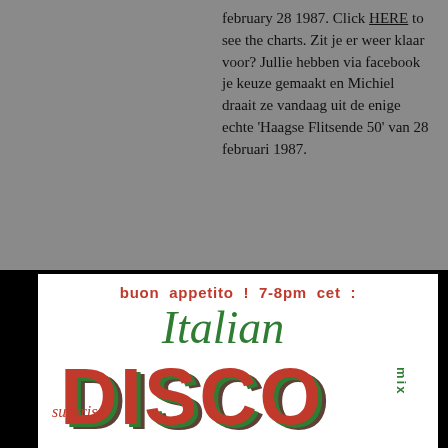february 28 1987. Click HERE to see the charts. Zit je er weer klaar voor? Jullie hebben via facebook je keuze gemaakt en Michiel draait ze vandaag uit de enige echte 'Haagse Flitsende 50' van 28 februari 1987.
[Figure (illustration): Logo image for 'buon appetito! 7-8pm cet: surprise Italian DISCO mix' with stylized text in red and green Italian flag colors on white background]